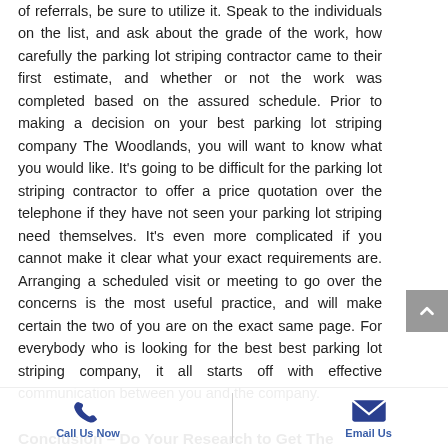of referrals, be sure to utilize it. Speak to the individuals on the list, and ask about the grade of the work, how carefully the parking lot striping contractor came to their first estimate, and whether or not the work was completed based on the assured schedule. Prior to making a decision on your best parking lot striping company The Woodlands, you will want to know what you would like. It's going to be difficult for the parking lot striping contractor to offer a price quotation over the telephone if they have not seen your parking lot striping need themselves. It's even more complicated if you cannot make it clear what your exact requirements are. Arranging a scheduled visit or meeting to go over the concerns is the most useful practice, and will make certain the two of you are on the exact same page. For everybody who is looking for the best best parking lot striping company, it all starts off with effective communication between you and the company.
Conclusion – Do Your Research to Get The Right Best Parking lot striping Company